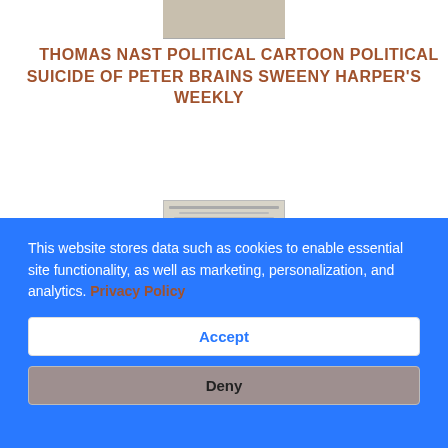[Figure (photo): Partial top of a historical image/cartoon at the top of the page]
THOMAS NAST POLITICAL CARTOON POLITICAL SUICIDE OF PETER BRAINS SWEENY HARPER'S WEEKLY
[Figure (photo): A black and white sketch or engraving showing a tall tower or column structure, resembling a Harper's Weekly political cartoon illustration]
This website stores data such as cookies to enable essential site functionality, as well as marketing, personalization, and analytics. Privacy Policy
Accept
Deny